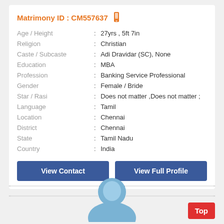Matrimony ID : CM557637
| Field | : | Value |
| --- | --- | --- |
| Age / Height | : | 27yrs , 5ft 7in |
| Religion | : | Christian |
| Caste / Subcaste | : | Adi Dravidar (SC), None |
| Education | : | MBA |
| Profession | : | Banking Service Professional |
| Gender | : | Female / Bride |
| Star / Rasi | : | Does not matter ,Does not matter ; |
| Language | : | Tamil |
| Location | : | Chennai |
| District | : | Chennai |
| State | : | Tamil Nadu |
| Country | : | India |
View Contact
View Full Profile
[Figure (illustration): Blue silhouette avatar/profile icon, upper body visible at bottom of page]
Top